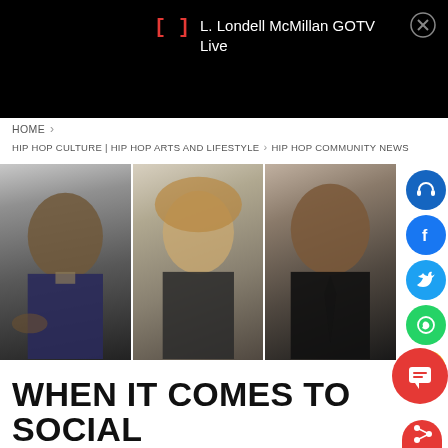L. Londell McMillan GOTV Live
HOME > HIP HOP CULTURE | HIP HOP ARTS AND LIFESTYLE > HIP HOP COMMUNITY NEWS
[Figure (photo): Three people side by side: Barack Obama pointing, a blonde woman, and a bald Black man in a suit with a tie]
WHEN IT COMES TO SOCIAL